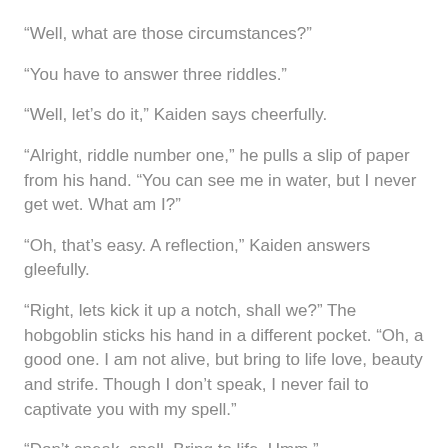“Well, what are those circumstances?”
“You have to answer three riddles.”
“Well, let’s do it,” Kaiden says cheerfully.
“Alright, riddle number one,” he pulls a slip of paper from his hand. “You can see me in water, but I never get wet. What am I?”
“Oh, that’s easy. A reflection,” Kaiden answers gleefully.
“Right, lets kick it up a notch, shall we?” The hobgoblin sticks his hand in a different pocket. “Oh, a good one. I am not alive, but bring to life love, beauty and strife. Though I don’t speak, I never fail to captivate you with my spell.”
“Don’t speak, spell. Bring to life. Hmm.”
“Time is ticking my boy.”